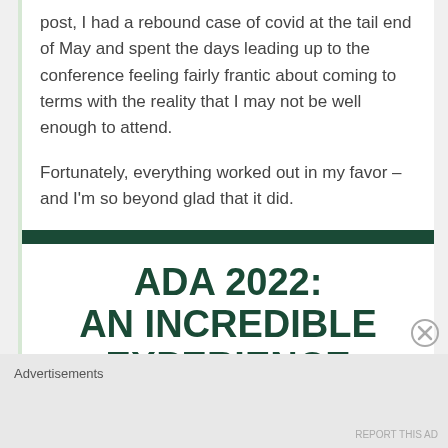post, I had a rebound case of covid at the tail end of May and spent the days leading up to the conference feeling fairly frantic about coming to terms with the reality that I may not be well enough to attend.
Fortunately, everything worked out in my favor – and I'm so beyond glad that it did.
ADA 2022: AN INCREDIBLE EXPERIENCE
Advertisements
REPORT THIS AD